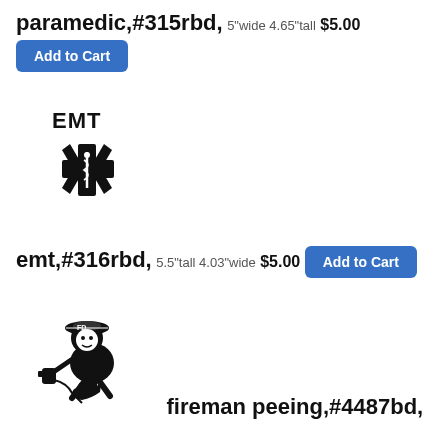paramedic,#315rbd,
5"wide 4.65"tall
$5.00
Add to Cart
[Figure (illustration): EMT star of life symbol with text EMT above it, black illustration]
emt,#316rbd,
5.5"tall 4.03"wide
$5.00
Add to Cart
[Figure (illustration): Cartoon fireman character wearing FD helmet, crouching and peeing fire, black illustration]
fireman peeing,#4487bd,